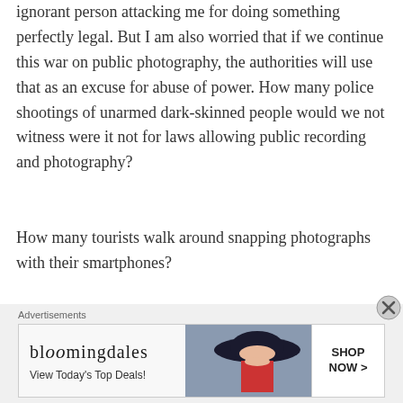ignorant person attacking me for doing something perfectly legal. But I am also worried that if we continue this war on public photography, the authorities will use that as an excuse for abuse of power. How many police shootings of unarmed dark-skinned people would we not witness were it not for laws allowing public recording and photography?
How many tourists walk around snapping photographs with their smartphones?
[Figure (other): Bloomingdale's advertisement banner with logo, 'View Today's Top Deals!' tagline, a woman wearing a large dark hat, and a 'SHOP NOW >' button]